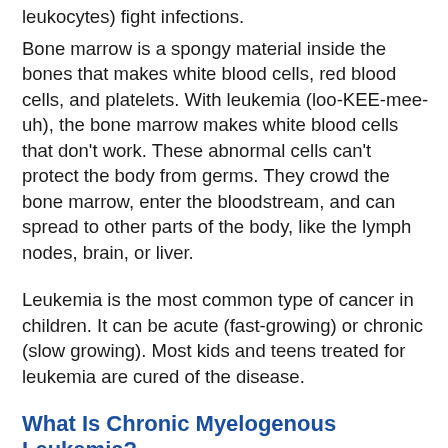leukocytes) fight infections.
Bone marrow is a spongy material inside the bones that makes white blood cells, red blood cells, and platelets. With leukemia (loo-KEE-mee-uh), the bone marrow makes white blood cells that don't work. These abnormal cells can't protect the body from germs. They crowd the bone marrow, enter the bloodstream, and can spread to other parts of the body, like the lymph nodes, brain, or liver.
Leukemia is the most common type of cancer in children. It can be acute (fast-growing) or chronic (slow growing). Most kids and teens treated for leukemia are cured of the disease.
What Is Chronic Myelogenous Leukemia?
Chronic myelogenous (mye-eh-LAH-jeh-nis) leukemia